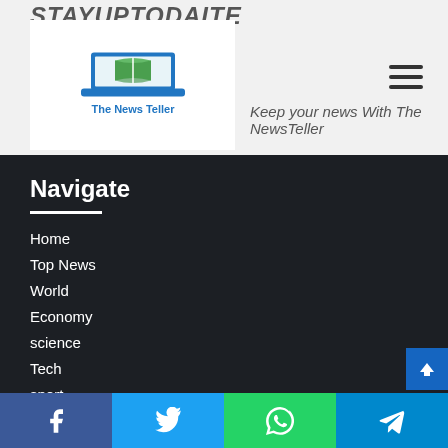STAYUPTODAITE
[Figure (logo): The News Teller logo: a laptop with blue and green book/pages icon above text 'The News Teller']
Keep your news With The NewsTeller
Navigate
Home
Top News
World
Economy
science
Tech
sport
entertainment